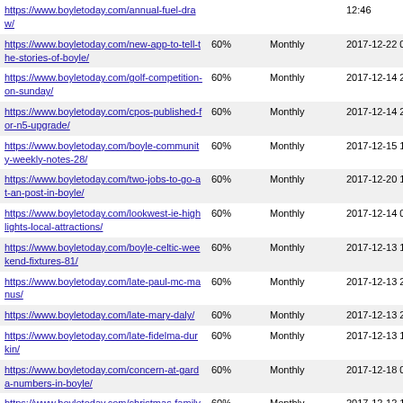| URL | Priority | Change Frequency | Last Modified |
| --- | --- | --- | --- |
| https://www.boyletoday.com/annual-fuel-draw/ |  |  | 12:46 |
| https://www.boyletoday.com/new-app-to-tell-the-stories-of-boyle/ | 60% | Monthly | 2017-12-22 07:21 |
| https://www.boyletoday.com/golf-competition-on-sunday/ | 60% | Monthly | 2017-12-14 20:46 |
| https://www.boyletoday.com/cpos-published-for-n5-upgrade/ | 60% | Monthly | 2017-12-14 21:32 |
| https://www.boyletoday.com/boyle-community-weekly-notes-28/ | 60% | Monthly | 2017-12-15 11:33 |
| https://www.boyletoday.com/two-jobs-to-go-at-an-post-in-boyle/ | 60% | Monthly | 2017-12-20 17:11 |
| https://www.boyletoday.com/lookwest-ie-highlights-local-attractions/ | 60% | Monthly | 2017-12-14 08:34 |
| https://www.boyletoday.com/boyle-celtic-weekend-fixtures-81/ | 60% | Monthly | 2017-12-13 10:52 |
| https://www.boyletoday.com/late-paul-mc-manus/ | 60% | Monthly | 2017-12-13 20:47 |
| https://www.boyletoday.com/late-mary-daly/ | 60% | Monthly | 2017-12-13 20:50 |
| https://www.boyletoday.com/late-fidelma-durkin/ | 60% | Monthly | 2017-12-13 17:55 |
| https://www.boyletoday.com/concern-at-garda-numbers-in-boyle/ | 60% | Monthly | 2017-12-18 07:44 |
| https://www.boyletoday.com/christmas-family-morning-today/ | 60% | Monthly | 2017-12-12 16:46 |
| https://www.boyletoday.com/e98k-for-cavetown-angling-works/ | 60% | Monthly | 2017-12-12 17:02 |
| https://www.boyletoday.com/pilates-commence-this-morning-in-boyle/ | 60% | Monthly | 2017-12-12 16:47 |
| https://www.boyletoday.com/table-centre-piece-workshop/ | 60% | Monthly | 2017-12-11 17:12 |
| https://www.boyletoday.com/historical-... | 60% | Monthly | 2017-12-11 ... |